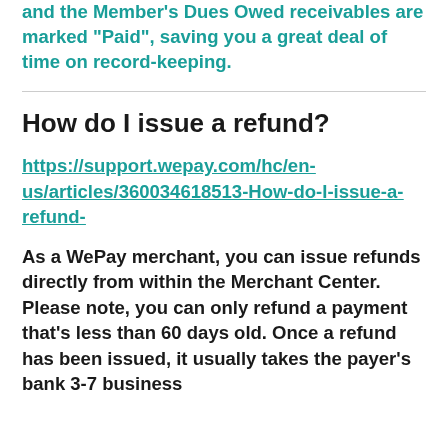and the Member's Dues Owed receivables are marked "Paid", saving you a great deal of time on record-keeping.
How do I issue a refund?
https://support.wepay.com/hc/en-us/articles/360034618513-How-do-I-issue-a-refund-
As a WePay merchant, you can issue refunds directly from within the Merchant Center. Please note, you can only refund a payment that's less than 60 days old. Once a refund has been issued, it usually takes the payer's bank 3-7 business